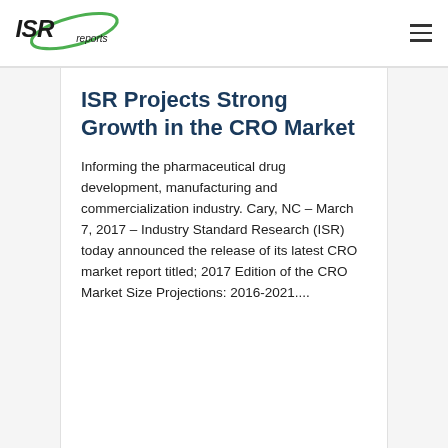ISR reports
ISR Projects Strong Growth in the CRO Market
Informing the pharmaceutical drug development, manufacturing and commercialization industry. Cary, NC – March 7, 2017 – Industry Standard Research (ISR) today announced the release of its latest CRO market report titled; 2017 Edition of the CRO Market Size Projections: 2016-2021....